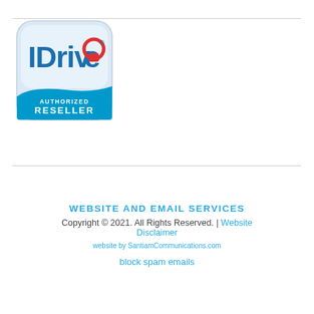[Figure (logo): IDrive Authorized Reseller badge logo — rounded square with blue/white 'IDrive' text with red lock icon, teal banner below reading 'AUTHORIZED RESELLER']
WEBSITE AND EMAIL SERVICES
Copyright © 2021. All Rights Reserved. | Website Disclaimer
website by SantiamCommunications.com
block spam emails